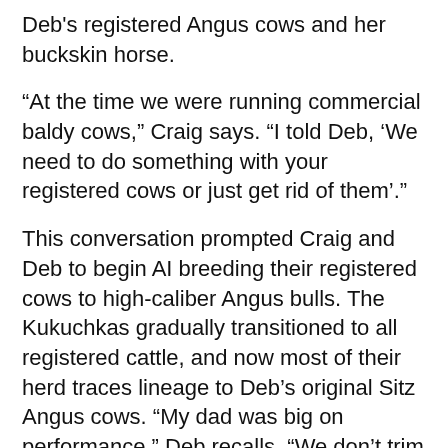Deb's registered Angus cows and her buckskin horse.
“At the time we were running commercial baldy cows,” Craig says. “I told Deb, ‘We need to do something with your registered cows or just get rid of them’.”
This conversation prompted Craig and Deb to begin AI breeding their registered cows to high-caliber Angus bulls. The Kukuchkas gradually transitioned to all registered cattle, and now most of their herd traces lineage to Deb’s original Sitz Angus cows. “My dad was big on performance,” Deb recalls. “We don’t trim feet on our outfit. Cows should have good udders and dispositions. Problem cows cost you money. That was his philosophy and it carried through to me.”